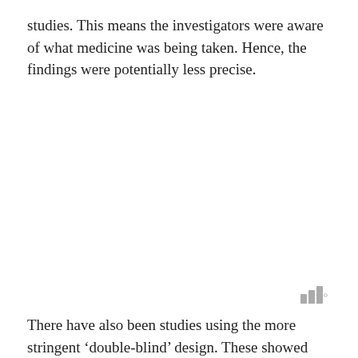studies. This means the investigators were aware of what medicine was being taken. Hence, the findings were potentially less precise.
[Figure (logo): Three vertical bars of increasing height forming a logo, followed by a superscript degree symbol, in gray.]
There have also been studies using the more stringent ‘double-blind’ design. These showed continued effectiveness of suvorexant as measured by patient reports for one year (3)